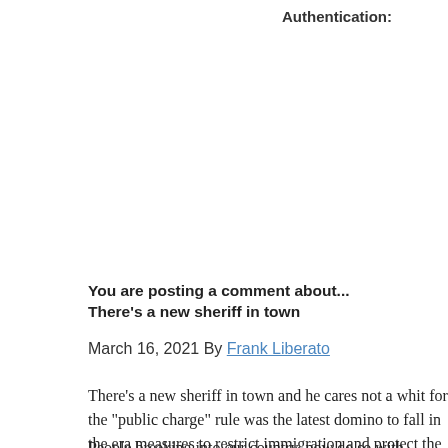Authentication:
[Figure (screenshot): CAPTCHA widget with checkbox and 'I'm not a robot' label on a light grey background]
[Figure (screenshot): Cancel and Submit buttons in blue]
You are posting a comment about...
There's a new sheriff in town
March 16, 2021 By Frank Liberato
There's a new sheriff in town and he cares not a whit for the "public charge" rule was the latest domino to fall in the era measures to restrict immigration and protect the borde
People breaking into our country, now do so with impunity.